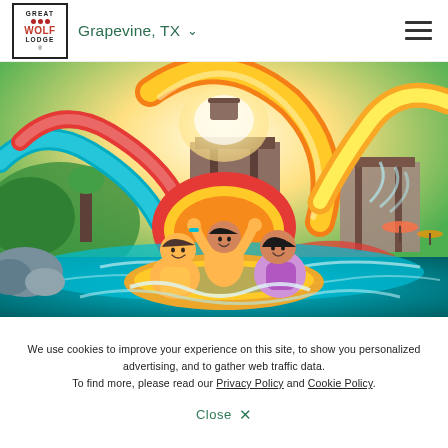[Figure (logo): Great Wolf Lodge logo in a bordered box]
Grapevine, TX ∨
[Figure (other): Hamburger menu icon (three horizontal lines)]
[Figure (photo): Indoor/outdoor waterpark photo showing a family of three people riding a yellow tube slide at Great Wolf Lodge, with colorful water slides in the background]
We use cookies to improve your experience on this site, to show you personalized advertising, and to gather web traffic data. To find more, please read our Privacy Policy and Cookie Policy.
Close ✕